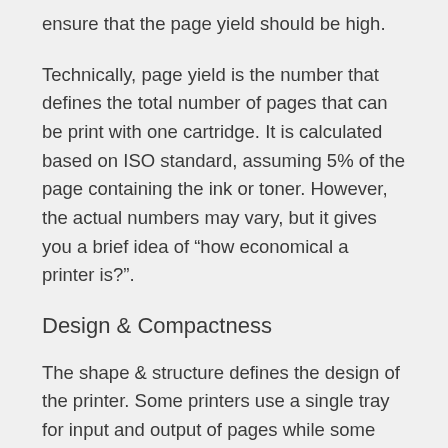ensure that the page yield should be high.
Technically, page yield is the number that defines the total number of pages that can be print with one cartridge. It is calculated based on ISO standard, assuming 5% of the page containing the ink or toner. However, the actual numbers may vary, but it gives you a brief idea of “how economical a printer is?”.
Design & Compactness
The shape & structure defines the design of the printer. Some printers use a single tray for input and output of pages while some use different ones. If you have to deal with multiple page prints in a single run like a book,